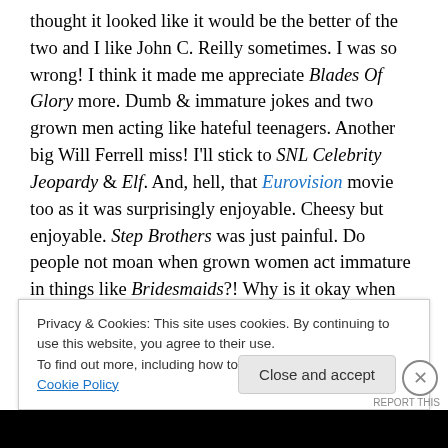thought it looked like it would be the better of the two and I like John C. Reilly sometimes. I was so wrong! I think it made me appreciate Blades Of Glory more. Dumb & immature jokes and two grown men acting like hateful teenagers. Another big Will Ferrell miss! I'll stick to SNL Celebrity Jeopardy & Elf. And, hell, that Eurovision movie too as it was surprisingly enjoyable. Cheesy but enjoyable. Step Brothers was just painful. Do people not moan when grown women act immature in things like Bridesmaids?! Why is it okay when grown men do the same sort of so-called comedy? (For the record, Bridesmaids isn't my type
Privacy & Cookies: This site uses cookies. By continuing to use this website, you agree to their use.
To find out more, including how to control cookies, see here: Cookie Policy
Close and accept